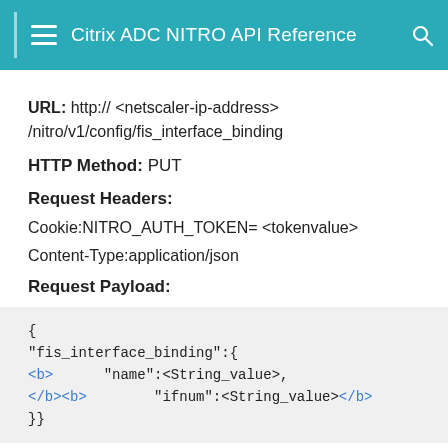Citrix ADC NITRO API Reference
URL: http:// <netscaler-ip-address>/nitro/v1/config/fis_interface_binding
HTTP Method: PUT
Request Headers:
Cookie:NITRO_AUTH_TOKEN= <tokenvalue>
Content-Type:application/json
Request Payload:
{
"fis_interface_binding":{
<b>      "name":<String_value>,
</b><b>         "ifnum":<String_value></b>
}}